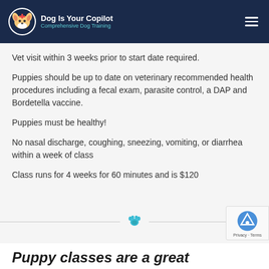Dog Is Your Copilot — Comprehensive Dog Training
Vet visit within 3 weeks prior to start date required.
Puppies should be up to date on veterinary recommended health procedures including a fecal exam, parasite control, a DAP and Bordetella vaccine.
Puppies must be healthy!
No nasal discharge, coughing, sneezing, vomiting, or diarrhea within a week of class
Class runs for 4 weeks for 60 minutes and is $120
[Figure (illustration): Cyan paw print icon used as a section divider]
Puppy classes are a great